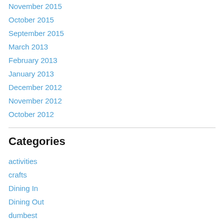November 2015
October 2015
September 2015
March 2013
February 2013
January 2013
December 2012
November 2012
October 2012
Categories
activities
crafts
Dining In
Dining Out
dumbest
Epicureans
Floored
Food